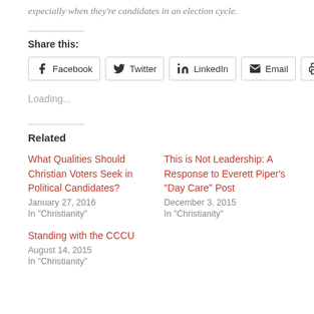especially when they're candidates in an election cycle.
Share this:
Facebook  Twitter  LinkedIn  Email  Print
Loading...
Related
What Qualities Should Christian Voters Seek in Political Candidates?
January 27, 2016
In "Christianity"
This is Not Leadership: A Response to Everett Piper's "Day Care" Post
December 3, 2015
In "Christianity"
Standing with the CCCU
August 14, 2015
In "Christianity"